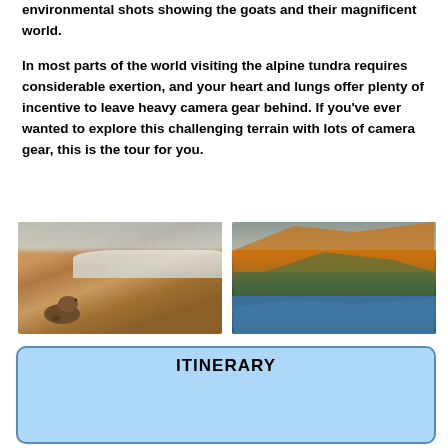environmental shots showing the goats and their magnificent world.
In most parts of the world visiting the alpine tundra requires considerable exertion, and your heart and lungs offer plenty of incentive to leave heavy camera gear behind. If you've ever wanted to explore this challenging terrain with lots of camera gear, this is the tour for you.
[Figure (photo): A marmot sitting on rocky sandy ground with snow-dusted mountains in the background under a hazy blue sky.]
[Figure (photo): Golden orange mountain peaks reflected in a calm alpine lake with green tundra vegetation in the foreground.]
ITINERARY